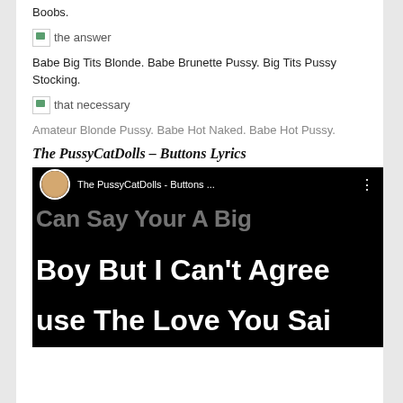Boobs.
[Figure (other): Broken image icon with alt text 'the answer']
Babe Big Tits Blonde. Babe Brunette Pussy. Big Tits Pussy Stocking.
[Figure (other): Broken image icon with alt text 'that necessary']
Amateur Blonde Pussy. Babe Hot Naked. Babe Hot Pussy.
The PussyCatDolls – Buttons Lyrics
[Figure (screenshot): YouTube video screenshot showing The PussyCatDolls - Buttons lyrics video with text: 'Can Say Your A Big Boy But I Can't Agree use The Love You Sai']